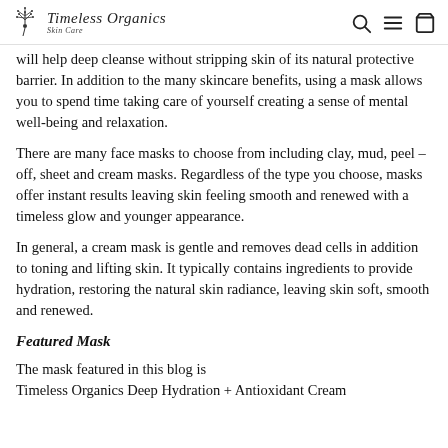Timeless Organics Skin Care
will help deep cleanse without stripping skin of its natural protective barrier.  In addition to the many skincare benefits, using a mask allows you to spend time taking care of yourself creating a sense of mental well-being and relaxation.
There are many face masks to choose from including clay, mud, peel – off, sheet and cream masks. Regardless of the type you choose, masks offer instant results leaving skin feeling smooth and renewed with a timeless glow and younger appearance.
In general, a cream mask is gentle and removes dead cells in addition to toning and lifting skin. It typically contains ingredients to provide hydration, restoring the natural skin radiance, leaving skin soft, smooth and renewed.
Featured Mask
The mask featured in this blog is Timeless Organics Deep Hydration + Antioxidant Cream